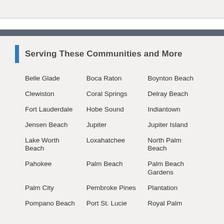Serving These Communities and More
Belle Glade
Boca Raton
Boynton Beach
Clewiston
Coral Springs
Delray Beach
Fort Lauderdale
Hobe Sound
Indiantown
Jensen Beach
Jupiter
Jupiter Island
Lake Worth Beach
Loxahatchee
North Palm Beach
Pahokee
Palm Beach
Palm Beach Gardens
Palm City
Pembroke Pines
Plantation
Pompano Beach
Port St. Lucie
Royal Palm